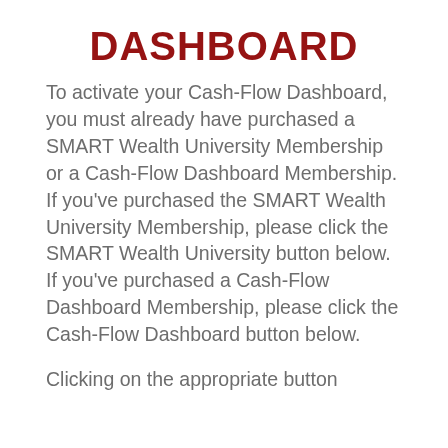DASHBOARD
To activate your Cash-Flow Dashboard, you must already have purchased a SMART Wealth University Membership or a Cash-Flow Dashboard Membership. If you've purchased the SMART Wealth University Membership, please click the SMART Wealth University button below. If you've purchased a Cash-Flow Dashboard Membership, please click the Cash-Flow Dashboard button below.
Clicking on the appropriate button